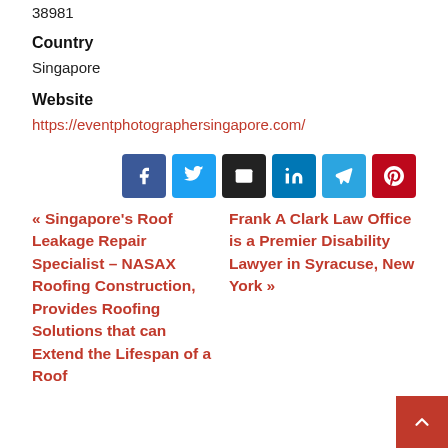38981
Country
Singapore
Website
https://eventphotographersingapore.com/
[Figure (infographic): Social sharing buttons row: Facebook (blue), Twitter (light blue), Email (dark/black), LinkedIn (blue), Telegram (light blue), Pinterest (red)]
« Singapore's Roof Leakage Repair Specialist – NASAX Roofing Construction, Provides Roofing Solutions that can Extend the Lifespan of a Roof
Frank A Clark Law Office is a Premier Disability Lawyer in Syracuse, New York »